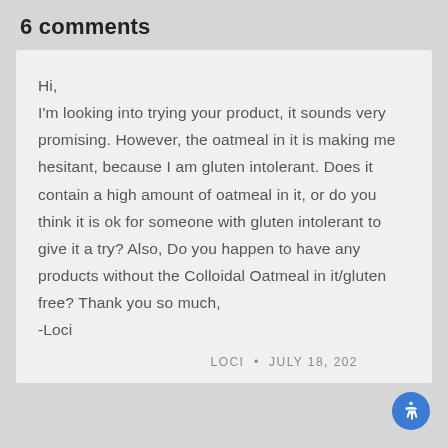6 comments
Hi,
I'm looking into trying your product, it sounds very promising. However, the oatmeal in it is making me hesitant, because I am gluten intolerant. Does it contain a high amount of oatmeal in it, or do you think it is ok for someone with gluten intolerant to give it a try? Also, Do you happen to have any products without the Colloidal Oatmeal in it/gluten free? Thank you so much,
-Loci
LOCI  •  JULY 18, 202